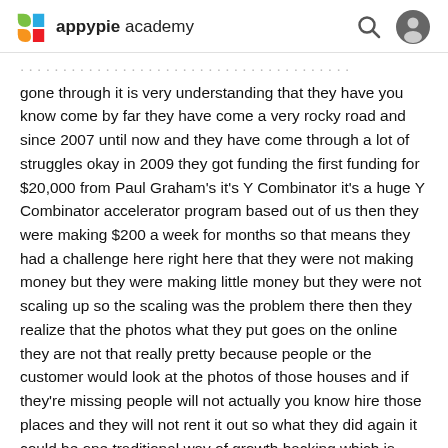appypie academy
gone through it is very understanding that they have you know come by far they have come a very rocky road and since 2007 until now and they have come through a lot of struggles okay in 2009 they got funding the first funding for $20,000 from Paul Graham's it's Y Combinator it's a huge Y Combinator accelerator program based out of us then they were making $200 a week for months so that means they had a challenge here right here that they were not making money but they were making little money but they were not scaling up so the scaling was the problem there then they realize that the photos what they put goes on the online they are not that really pretty because people or the customer would look at the photos of those houses and if they're missing people will not actually you know hire those places and they will not rent it out so what they did again it could be one traditional way of growth hacking which is they went out door-to-door in New York City and took photos of those listed houses which has been rented which